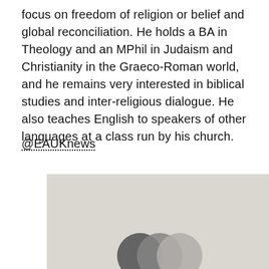focus on freedom of religion or belief and global reconciliation. He holds a BA in Theology and an MPhil in Judaism and Christianity in the Graeco-Roman world, and he remains very interested in biblical studies and inter-religious dialogue. He also teaches English to speakers of other languages at a class run by his church.
@EAUKnews
[Figure (logo): Light gray rectangular image with three overlapping circles at the bottom center — dark gray, medium gray, and light gray — resembling a logo or brand mark.]